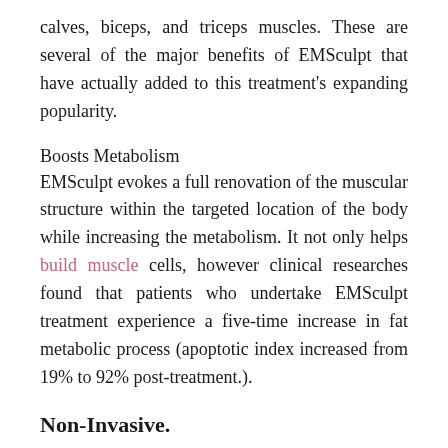calves, biceps, and triceps muscles. These are several of the major benefits of EMSculpt that have actually added to this treatment's expanding popularity.
Boosts Metabolism
EMSculpt evokes a full renovation of the muscular structure within the targeted location of the body while increasing the metabolism. It not only helps build muscle cells, however clinical researches found that patients who undertake EMSculpt treatment experience a five-time increase in fat metabolic process (apoptotic index increased from 19% to 92% post-treatment.).
Non-Invasive.
Since EMSculpt is a safe as well as totally non-invasive treatment, it has come to be a prominent alternative to surgical treatments that achieve similar